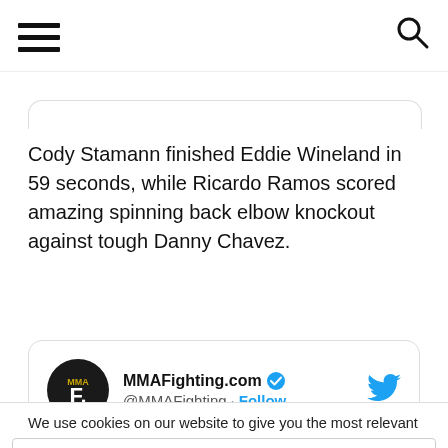[Hamburger menu] [Search icon]
Cody Stamann finished Eddie Wineland in 59 seconds, while Ricardo Ramos scored amazing spinning back elbow knockout against tough Danny Chavez.
[Figure (screenshot): MMAFighting.com Twitter profile card showing logo, verified checkmark, handle @MMAFighting, and Follow button with Twitter bird icon]
We use cookies on our website to give you the most relevant
Privacy & Cookies: This site uses cookies. By continuing to use this website, you agree to their use.
To find out more, including how to control cookies, see here: Cookie Policy
Close and accept